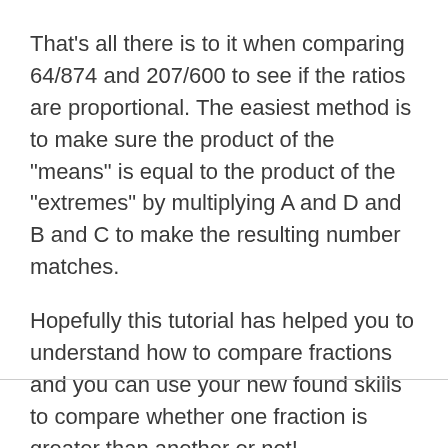That's all there is to it when comparing 64/874 and 207/600 to see if the ratios are proportional. The easiest method is to make sure the product of the "means" is equal to the product of the "extremes" by multiplying A and D and B and C to make the resulting number matches.
Hopefully this tutorial has helped you to understand how to compare fractions and you can use your new found skills to compare whether one fraction is greater than another or not!